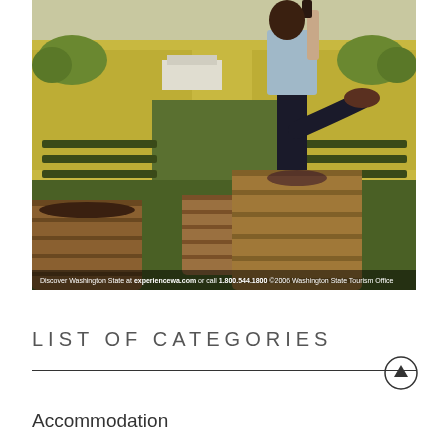[Figure (photo): Advertisement photo showing a person stomping grapes in a wooden barrel in a vineyard. Text overlay reads: Discover Washington State at experiencewa.com or call 1.800.544.1800 ©2006 Washington State Tourism Office]
LIST OF CATEGORIES
Accommodation